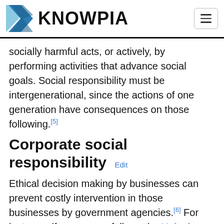KNOWPIA
socially harmful acts, or actively, by performing activities that advance social goals. Social responsibility must be intergenerational, since the actions of one generation have consequences on those following.[5]
Corporate social responsibility  Edit
Ethical decision making by businesses can prevent costly intervention in those businesses by government agencies.[6] For instance, if a company follows the United States Environmental Protection Agency (EPA) guidelines for emissions of dangerous pollutants and goes further involved the community and address concerns the public might have, they might be less likely to have the EPA investigate them for environmental concerns.[6] "A significant element of